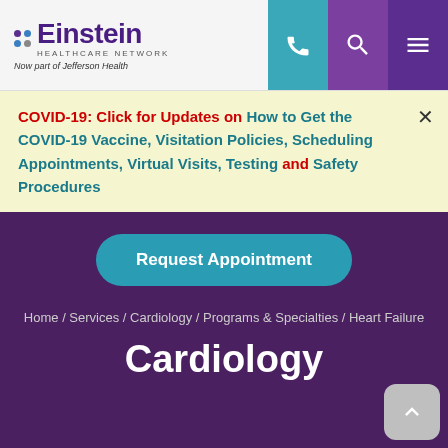[Figure (logo): Einstein Healthcare Network logo with colored dots and text 'Now part of Jefferson Health']
COVID-19: Click for Updates on How to Get the COVID-19 Vaccine, Visitation Policies, Scheduling Appointments, Virtual Visits, Testing and Safety Procedures
Request Appointment
Home / Services / Cardiology / Programs & Specialties / Heart Failure
Cardiology